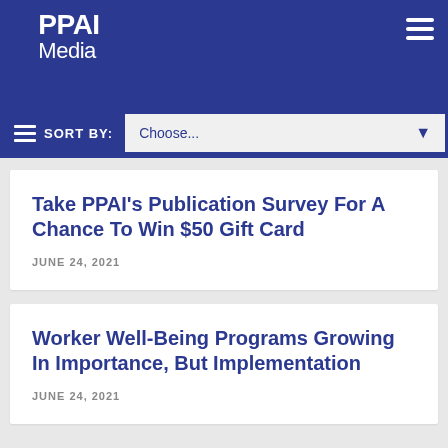PPAI Media
SORT BY: Choose...
Take PPAI’s Publication Survey For A Chance To Win $50 Gift Card
JUNE 24, 2021
Worker Well-Being Programs Growing In Importance, But Implementation
JUNE 24, 2021